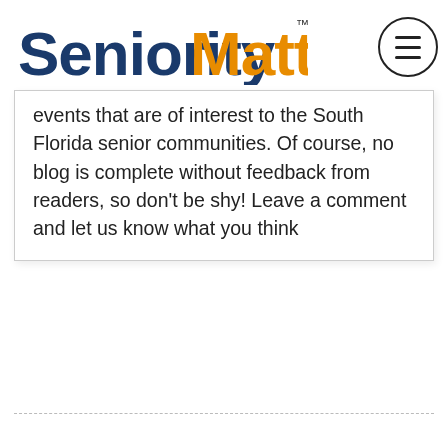SeniorityMatters™
events that are of interest to the South Florida senior communities. Of course, no blog is complete without feedback from readers, so don't be shy! Leave a comment and let us know what you think